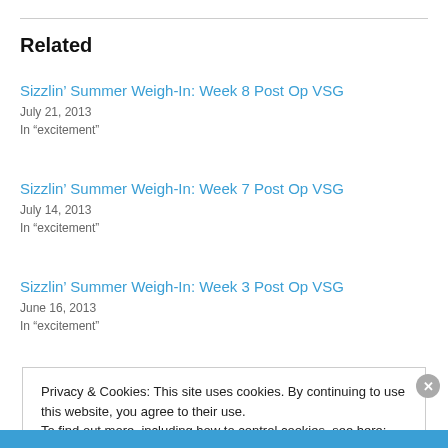Related
Sizzlin’ Summer Weigh-In: Week 8 Post Op VSG
July 21, 2013
In "excitement"
Sizzlin’ Summer Weigh-In: Week 7 Post Op VSG
July 14, 2013
In "excitement"
Sizzlin’ Summer Weigh-In: Week 3 Post Op VSG
June 16, 2013
In "excitement"
Privacy & Cookies: This site uses cookies. By continuing to use this website, you agree to their use.
To find out more, including how to control cookies, see here: Cookie Policy